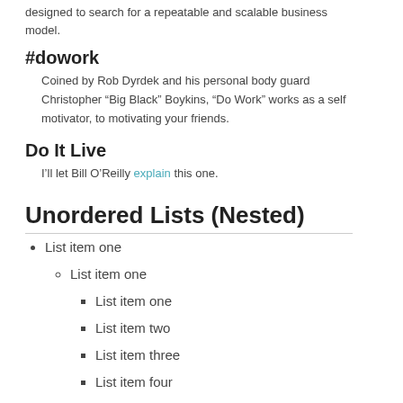designed to search for a repeatable and scalable business model.
#dowork
Coined by Rob Dyrdek and his personal body guard Christopher “Big Black” Boykins, “Do Work” works as a self motivator, to motivating your friends.
Do It Live
I’ll let Bill O’Reilly explain this one.
Unordered Lists (Nested)
List item one
List item one
List item one
List item two
List item three
List item four
List item two